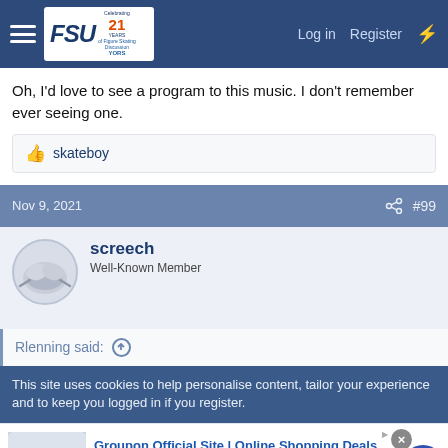FSU | Log in | Register
Oh, I'd love to see a program to this music. I don't remember ever seeing one.
👍 skateboy
Nov 9, 2021  #99
screech
Well-Known Member
Rlenning said: ↑
This site uses cookies to help personalise content, tailor your experience and to keep you logged in if you register.
Groupon Official Site | Online Shopping Deals
Discover & Save with Over 300k of the Best Deals
www.groupon.com